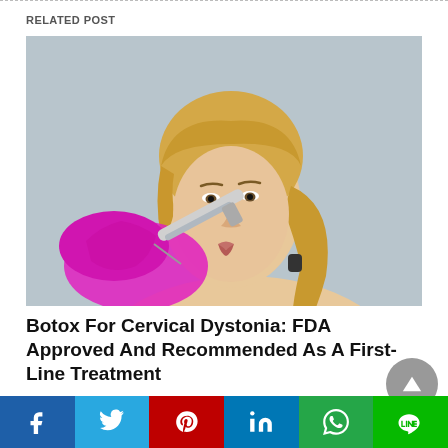RELATED POST
[Figure (photo): Blonde woman receiving a facial injection from a gloved hand holding a syringe, gray background]
Botox For Cervical Dystonia: FDA Approved And Recommended As A First-Line Treatment